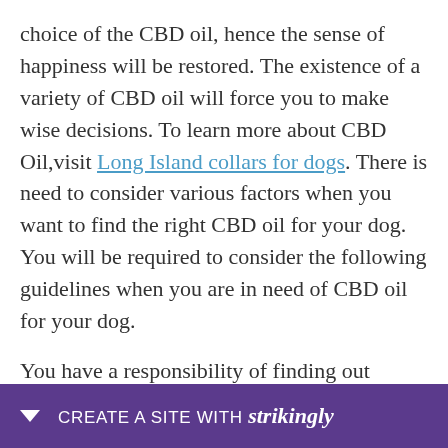choice of the CBD oil, hence the sense of happiness will be restored. The existence of a variety of CBD oil will force you to make wise decisions. To learn more about CBD Oil,visit Long Island collars for dogs. There is need to consider various factors when you want to find the right CBD oil for your dog. You will be required to consider the following guidelines when you are in need of CBD oil for your dog.

You have a responsibility of finding out whether the CBD oil has been tested by a third party lab. It is not possible to tell from the label placed on a prod[uct whether] prop[erly]...
[Figure (other): Purple banner at bottom of page reading 'CREATE A SITE WITH strikingly' with a downward arrow icon on the left]